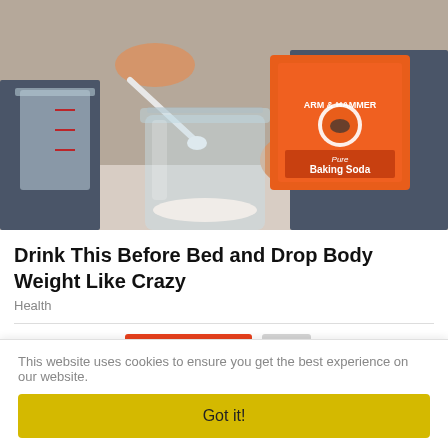[Figure (photo): A person holding an Arm & Hammer Baking Soda box and spooning powder from it into a large glass mason jar. A measuring cup is visible on the left.]
Drink This Before Bed and Drop Body Weight Like Crazy
Health
LABELS: Inspiring Stories 4178
SHARE:
This website uses cookies to ensure you get the best experience on our website.
Got it!